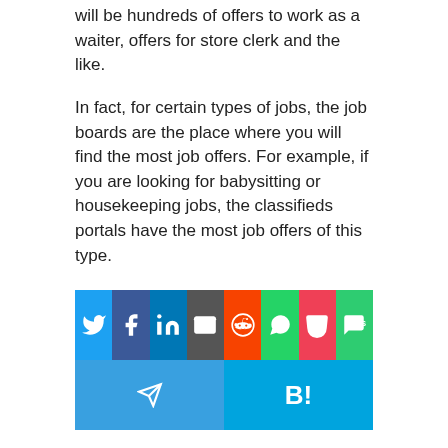will be hundreds of offers to work as a waiter, offers for store clerk and the like.
In fact, for certain types of jobs, the job boards are the place where you will find the most job offers. For example, if you are looking for babysitting or housekeeping jobs, the classifieds portals have the most job offers of this type.
[Figure (infographic): Social media share buttons: Twitter, Facebook, LinkedIn, Email, Reddit, WhatsApp, Pocket, SMS in top row; Telegram and Hatena Bookmark (B!) in bottom row.]
Related Craigslist Cities
Craigslist Pine City
Craigslist Denver Colorado
Craigslist Des Moines Iowa